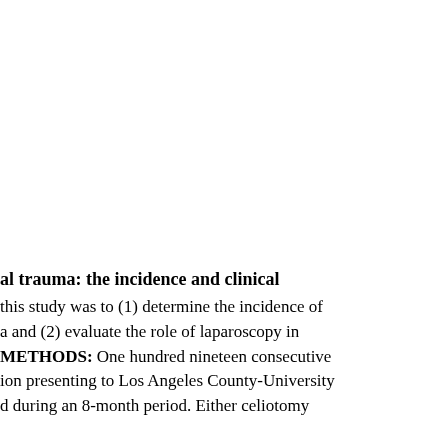al trauma: the incidence and clinical
this study was to (1) determine the incidence of a and (2) evaluate the role of laparoscopy in METHODS: One hundred nineteen consecutive ion presenting to Los Angeles County-University d during an 8-month period. Either celiotomy